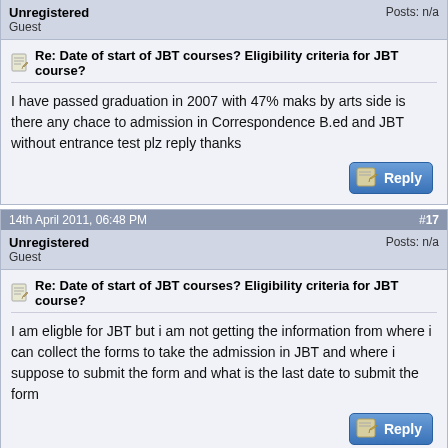Unregistered
Guest
Posts: n/a
Re: Date of start of JBT courses? Eligibility criteria for JBT course?
I have passed graduation in 2007 with 47% maks by arts side is there any chace to admission in Correspondence B.ed and JBT without entrance test plz reply thanks
14th April 2011, 06:48 PM  #17
Unregistered
Guest
Posts: n/a
Re: Date of start of JBT courses? Eligibility criteria for JBT course?
I am eligble for JBT but i am not getting the information from where i can collect the forms to take the admission in JBT and where i suppose to submit the form and what is the last date to submit the form
25th May 2011, 02:27 PM  #18
Unregistered
Guest
Posts: n/a